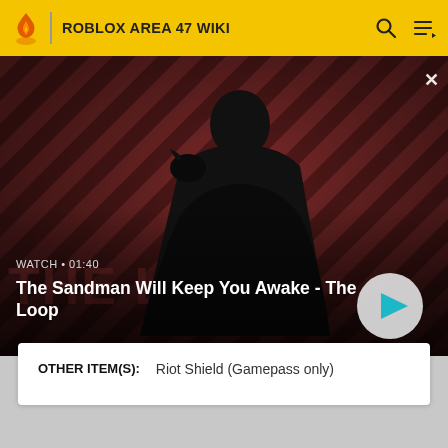ROBLOX AREA 47 WIKI
[Figure (screenshot): Video thumbnail showing a dark-robed figure with a raven on their shoulder against a red diagonal-striped background. Text overlay reads 'WATCH • 01:40' and 'The Sandman Will Keep You Awake - The Loop' with a play button.]
| OTHER ITEM(S): |  |
| --- | --- |
|  | Riot Shield (Gamepass only) |